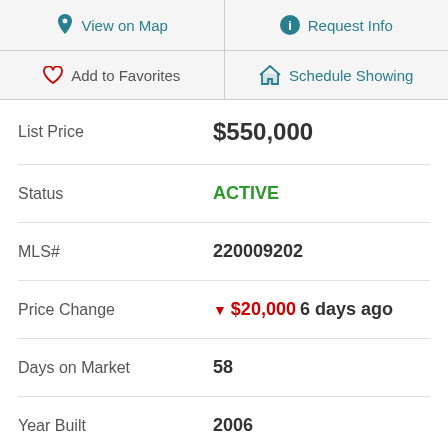View on Map
Request Info
Add to Favorites
Schedule Showing
| Field | Value |
| --- | --- |
| List Price | $550,000 |
| Status | ACTIVE |
| MLS# | 220009202 |
| Price Change | ▼ $20,000 6 days ago |
| Days on Market | 58 |
| Year Built | 2006 |
| Bedrooms | 3 |
| Bathrooms | 2 |